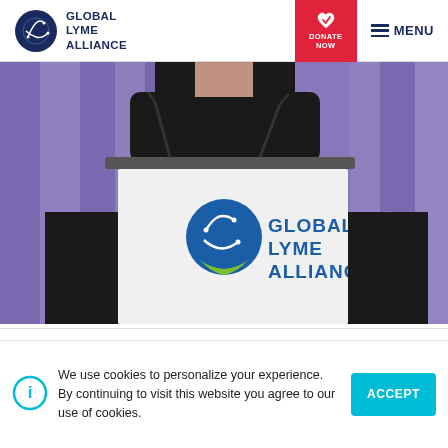Global Lyme Alliance | Donate Now | Menu
[Figure (photo): A person in black dress speaking at a podium with a Global Lyme Alliance banner/sign, purple curtain background]
We use cookies to personalize your experience. By continuing to visit this website you agree to our use of cookies.